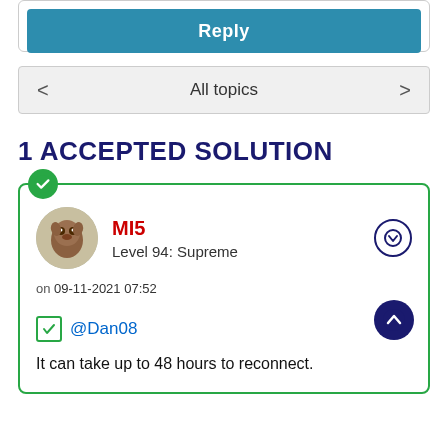[Figure (screenshot): Reply button - teal/blue colored button with white bold text 'Reply']
All topics
1 ACCEPTED SOLUTION
MI5
Level 94: Supreme
on 09-11-2021 07:52
@Dan08
It can take up to 48 hours to reconnect.